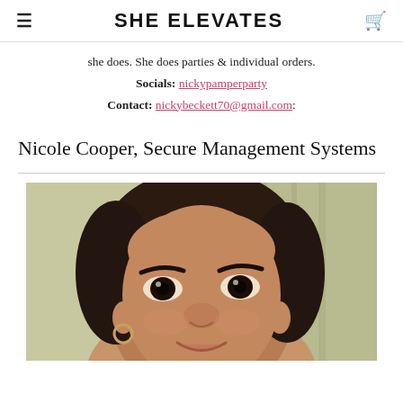SHE ELEVATES
she does. She does parties & individual orders.
Socials: nickypamperparty
Contact: nickybeckett70@gmail.com:
Nicole Cooper, Secure Management Systems
[Figure (photo): Close-up portrait photo of a woman with dark hair pulled back, wearing hoop earrings, smiling slightly, with a blurred curtain background.]